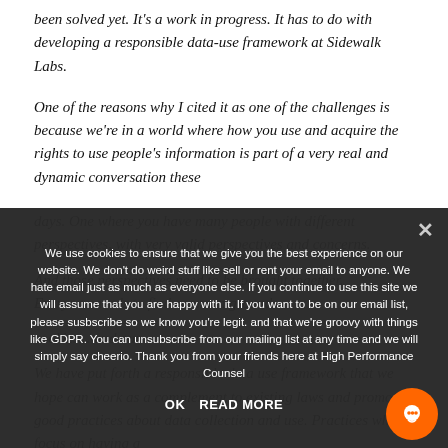been solved yet. It's a work in progress. It has to do with developing a responsible data-use framework at Sidewalk Labs.
One of the reasons why I cited it as one of the challenges is because we're in a world where how you use and acquire the rights to use people's information is part of a very real and dynamic conversation these days. One where you have many people with different perspectives, with very valid perspectives and concerns. And those perspectives need to be brought together. Everyone needs to find...
We use cookies to ensure that we give you the best experience on our website. We don't do weird stuff like sell or rent your email to anyone. We hate email just as much as everyone else. If you continue to use this site we will assume that you are happy with it. If you want to be on our email list, please susbscribe so we know you're legit. and that we're groovy with things like GDPR. You can unsubscribe from our mailing list at any time and we will simply say cheerio. Thank you from your friends here at High Performance Counsel
We have put forth a responsible data use framework that we hope can work as a complement to existing laws and promote good practices about data collection and use. Practices which focus on having a...